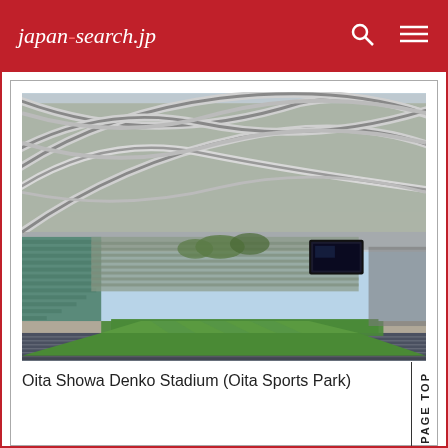japan-search.jp
[Figure (photo): Interior view of Oita Showa Denko Stadium (Oita Sports Park) showing the distinctive cross-arch steel roof structure, green playing field, running track, and teal/green stadium seating.]
Oita Showa Denko Stadium (Oita Sports Park)